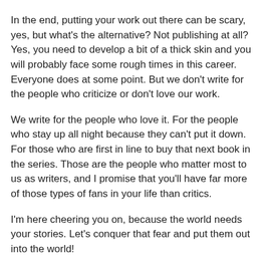In the end, putting your work out there can be scary, yes, but what's the alternative? Not publishing at all? Yes, you need to develop a bit of a thick skin and you will probably face some rough times in this career. Everyone does at some point. But we don't write for the people who criticize or don't love our work.
We write for the people who love it. For the people who stay up all night because they can't put it down. For those who are first in line to buy that next book in the series. Those are the people who matter most to us as writers, and I promise that you'll have far more of those types of fans in your life than critics.
I'm here cheering you on, because the world needs your stories. Let's conquer that fear and put them out into the world!
SATURDAY IS DOUBLE-DOWN